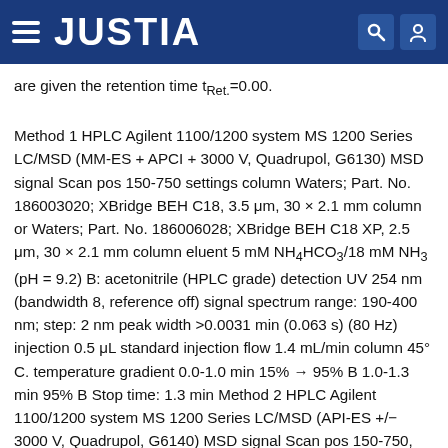JUSTIA
are given the retention time t_Ret.=0.00. Method 1 HPLC Agilent 1100/1200 system MS 1200 Series LC/MSD (MM-ES + APCI + 3000 V, Quadrupol, G6130) MSD signal Scan pos 150-750 settings column Waters; Part. No. 186003020; XBridge BEH C18, 3.5 μm, 30 × 2.1 mm column or Waters; Part. No. 186006028; XBridge BEH C18 XP, 2.5 μm, 30 × 2.1 mm column eluent 5 mM NH4HCO3/18 mM NH3 (pH = 9.2) B: acetonitrile (HPLC grade) detection UV 254 nm (bandwidth 8, reference off) signal spectrum range: 190-400 nm; step: 2 nm peak width >0.0031 min (0.063 s) (80 Hz) injection 0.5 μL standard injection flow 1.4 mL/min column 45° C. temperature gradient 0.0-1.0 min 15% → 95% B 1.0-1.3 min 95% B Stop time: 1.3 min Method 2 HPLC Agilent 1100/1200 system MS 1200 Series LC/MSD (API-ES +/− 3000 V, Quadrupol, G6140) MSD signal Scan pos 150-750,